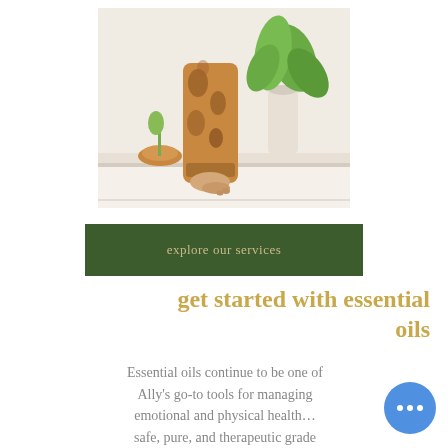[Figure (photo): Photo of a person's lower legs and bare feet wearing patterned brown harem pants, standing near a window ledge with potted plants and an orange crystal candle holder in a bright, airy room.]
explore our services
get started with essential oils
Essential oils continue to be one of Ally's go-to tools for managing emotional and physical health… safe, pure, and therapeutic grade